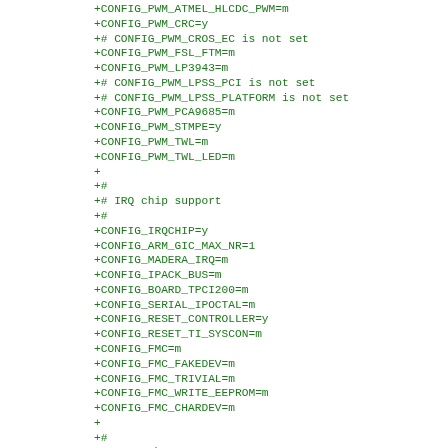+CONFIG_PWM_ATMEL_HLCDC_PWM=m
+CONFIG_PWM_CRC=y
+# CONFIG_PWM_CROS_EC is not set
+CONFIG_PWM_FSL_FTM=m
+CONFIG_PWM_LP3943=m
+# CONFIG_PWM_LPSS_PCI is not set
+# CONFIG_PWM_LPSS_PLATFORM is not set
+CONFIG_PWM_PCA9685=m
+CONFIG_PWM_STMPE=y
+CONFIG_PWM_TWL=m
+CONFIG_PWM_TWL_LED=m
+
+#
+# IRQ chip support
+#
+CONFIG_IRQCHIP=y
+CONFIG_ARM_GIC_MAX_NR=1
+CONFIG_MADERA_IRQ=m
+CONFIG_IPACK_BUS=m
+CONFIG_BOARD_TPCI200=m
+CONFIG_SERIAL_IPOCTAL=m
+CONFIG_RESET_CONTROLLER=y
+CONFIG_RESET_TI_SYSCON=m
+CONFIG_FMC=m
+CONFIG_FMC_FAKEDEV=m
+CONFIG_FMC_TRIVIAL=m
+CONFIG_FMC_WRITE_EEPROM=m
+CONFIG_FMC_CHARDEV=m
+
+#
+# PHY Subsystem